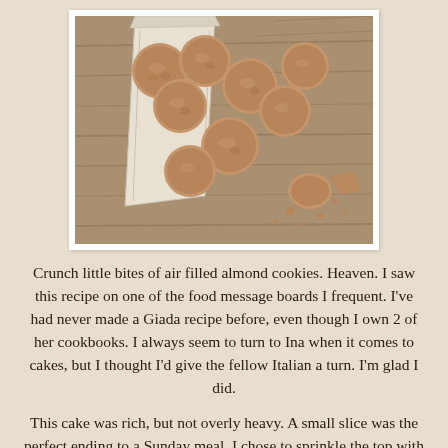[Figure (photo): Overhead photo of round almond cookies spilling out of a white paper bag onto a rustic wooden surface. Several cookies are broken, showing crumbly interior.]
Crunch little bites of air filled almond cookies. Heaven. I saw this recipe on one of the food message boards I frequent. I've had never made a Giada recipe before, even though I own 2 of her cookbooks. I always seem to turn to Ina when it comes to cakes, but I thought I'd give the fellow Italian a turn. I'm glad I did.
This cake was rich, but not overly heavy. A small slice was the perfect ending to a Sunday meal. I chose to sprinkle the top with confectioners sugar cause I thought it looked better, and would taste better than the cocoa Giada suggests.